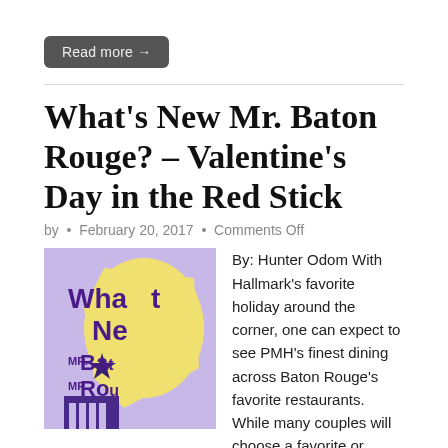Read more →
What's New Mr. Baton Rouge? – Valentine's Day in the Red Stick
by • February 20, 2017 • Comments Off
[Figure (illustration): Illustrated graphic with purple and yellow colors showing partial text 'What's New Mr. Baton Rouge' in bold purple lettering on a light purple background with a yellow map shape and star.]
By: Hunter Odom With Hallmark's favorite holiday around the corner, one can expect to see PMH's finest dining across Baton Rouge's favorite restaurants. While many couples will choose a favorite or often-frequented spot, some will, undoubtedly, be at the mercy…